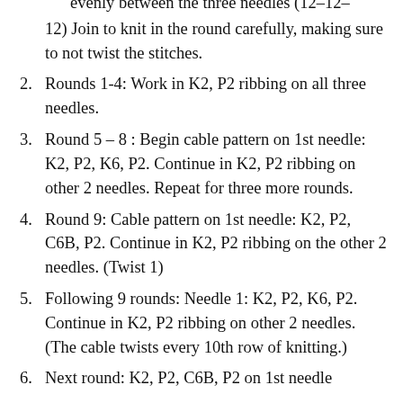evenly between the three needles (12-12-12) Join to knit in the round carefully, making sure to not twist the stitches.
2. Rounds 1-4: Work in K2, P2 ribbing on all three needles.
3. Round 5 – 8 : Begin cable pattern on 1st needle: K2, P2, K6, P2. Continue in K2, P2 ribbing on other 2 needles. Repeat for three more rounds.
4. Round 9: Cable pattern on 1st needle: K2, P2, C6B, P2. Continue in K2, P2 ribbing on the other 2 needles. (Twist 1)
5. Following 9 rounds: Needle 1: K2, P2, K6, P2. Continue in K2, P2 ribbing on other 2 needles. (The cable twists every 10th row of knitting.)
6. Next round: K2, P2, C6B, P2 on 1st needle